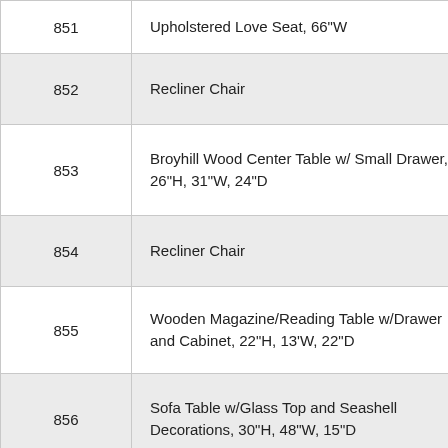| # | Description |
| --- | --- |
| 851 | Upholstered Love Seat, 66"W |
| 852 | Recliner Chair |
| 853 | Broyhill Wood Center Table w/ Small Drawer, 26"H, 31"W, 24"D |
| 854 | Recliner Chair |
| 855 | Wooden Magazine/Reading Table w/Drawer and Cabinet, 22"H, 13'W, 22"D |
| 856 | Sofa Table w/Glass Top and Seashell Decorations, 30"H, 48"W, 15"D |
| 857 | Lighted Wooden Cabinet w/Glass Doors, Glass Shelves, 34"H, 46"W, 17"D |